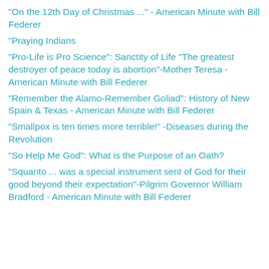"On the 12th Day of Christmas ..." - American Minute with Bill Federer
"Praying Indians
"Pro-Life is Pro Science": Sanctity of Life "The greatest destroyer of peace today is abortion"-Mother Teresa - American Minute with Bill Federer
"Remember the Alamo-Remember Goliad": History of New Spain & Texas - American Minute with Bill Federer
"Smallpox is ten times more terrible!" -Diseases during the Revolution
"So Help Me God": What is the Purpose of an Oath?
"Squanto ... was a special instrument sent of God for their good beyond their expectation"-Pilgrim Governor William Bradford - American Minute with Bill Federer